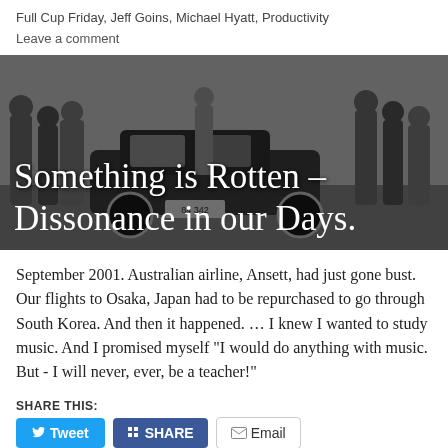Full Cup Friday, Jeff Goins, Michael Hyatt, Productivity
Leave a comment
[Figure (photo): Black and white historical photograph showing people gathered around a vintage automobile on a street. Text overlay reads: Something is Rotten – Dissonance in our Days.]
Something is Rotten – Dissonance in our Days.
September 2001. Australian airline, Ansett, had just gone bust. Our flights to Osaka, Japan had to be repurchased to go through South Korea. And then it happened. … I knew I wanted to study music. And I promised myself "I would do anything with music. But - I will never, ever, be a teacher!"
SHARE THIS:
Tweet | SHARE | Email